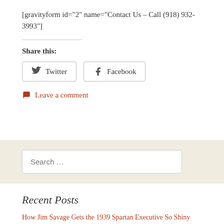[gravityform id="2" name="Contact Us – Call (918) 932-3993"]
Share this:
Twitter  Facebook
Leave a comment
Search …
Recent Posts
How Jim Savage Gets the 1939 Spartan Executive So Shiny